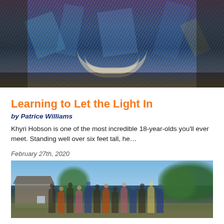[Figure (photo): Colorful abstract face or mural artwork with blue, purple, and golden tones, diagonal brushstroke-like textures, and a smiling face visible at the bottom center.]
Learning to Let the Light In
by Patrice Williams
Khyri Hobson is one of the most incredible 18-year-olds you'll ever meet. Standing well over six feet tall, he…
February 27th, 2020
[Figure (photo): Outdoor group photo of adults and children gathered in a park or backyard, with trees and a brick building in the background, under a blue sky.]